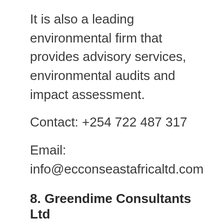It is also a leading environmental firm that provides advisory services, environmental audits and impact assessment.
Contact: +254 722 487 317
Email: info@ecconseastafricaltd.com
8. Greendime Consultants Ltd
It is a professional firm specialising in